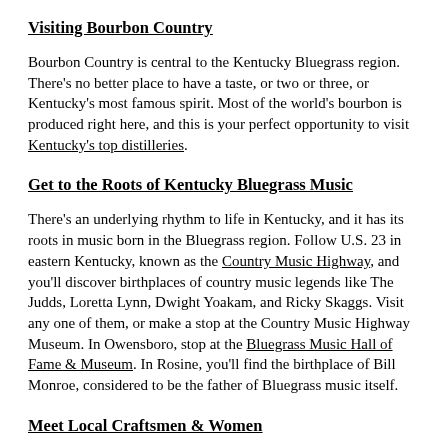Visiting Bourbon Country
Bourbon Country is central to the Kentucky Bluegrass region. There's no better place to have a taste, or two or three, or Kentucky's most famous spirit. Most of the world's bourbon is produced right here, and this is your perfect opportunity to visit Kentucky's top distilleries.
Get to the Roots of Kentucky Bluegrass Music
There's an underlying rhythm to life in Kentucky, and it has its roots in music born in the Bluegrass region. Follow U.S. 23 in eastern Kentucky, known as the Country Music Highway, and you'll discover birthplaces of country music legends like The Judds, Loretta Lynn, Dwight Yoakam, and Ricky Skaggs. Visit any one of them, or make a stop at the Country Music Highway Museum. In Owensboro, stop at the Bluegrass Music Hall of Fame & Museum. In Rosine, you'll find the birthplace of Bill Monroe, considered to be the father of Bluegrass music itself.
Meet Local Craftsmen & Women
Kentucky's Bluegrass region is also the perfect place to discover hand-crafted works from local artisans. The art-focused town of Berea is on the edge of the Kentucky Bluegrass region, but it at the cultural heart of Kentucky's arts and crafts. Berea is a wonderful